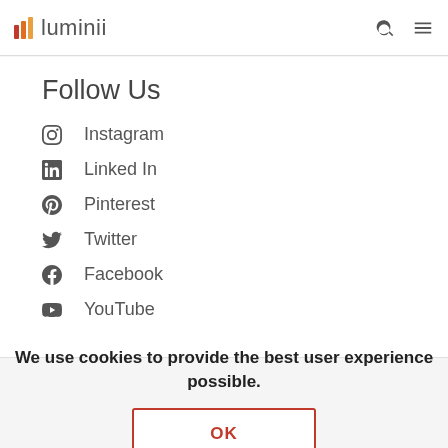luminii
Follow Us
Instagram
Linked In
Pinterest
Twitter
Facebook
YouTube
We use cookies to provide the best user experience possible.
OK